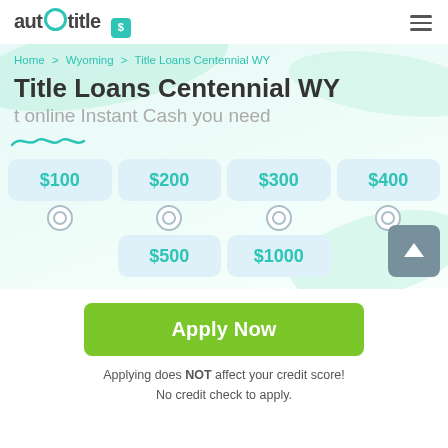auto title — navigation logo and hamburger menu
Home > Wyoming > Title Loans Centennial WY
Title Loans Centennial WY
t online Instant Cash you need
$100, $200, $300, $400, $500, $1000 — loan amount options
Apply Now
Applying does NOT affect your credit score! No credit check to apply.